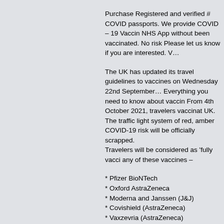Purchase Registered and verified # COVID passports. We provide COVID – 19 Vaccination NHS App without been vaccinated. No ris… Please let us know if you are interested. V…
The UK has updated its travel guidelines … vaccines on Wednesday 22nd September… Everything you need to know about vacci… From 4th October 2021, travelers vaccina… UK. The traffic light system of red, amber … COVID-19 risk will be officially scrapped. Travelers will be considered as 'fully vacc… any of these vaccines –
* Pfizer BioNTech
* Oxford AstraZeneca
* Moderna and Janssen (J&J)
* Covishield (AstraZeneca)
* Vaxzevria (AstraZeneca)
* Takeda (Moderna)
However, Indian travelers are still required… and day eight tests in England, and self-is… The issue remains with the COVID-19 vac…